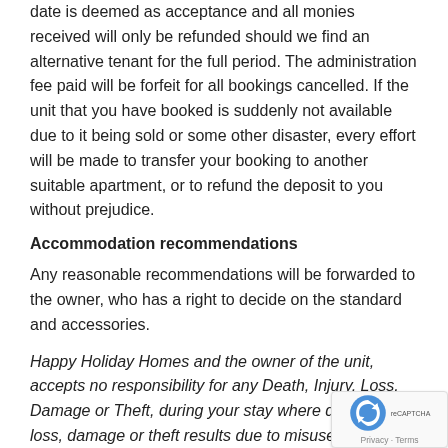date is deemed as acceptance and all monies received will only be refunded should we find an alternative tenant for the full period. The administration fee paid will be forfeit for all bookings cancelled. If the unit that you have booked is suddenly not available due to it being sold or some other disaster, every effort will be made to transfer your booking to another suitable apartment, or to refund the deposit to you without prejudice.
Accommodation recommendations
Any reasonable recommendations will be forwarded to the owner, who has a right to decide on the standard and accessories.
Happy Holiday Homes and the owner of the unit, accepts no responsibility for any Death, Injury, Loss, Damage or Theft, during your stay where death, injury, loss, damage or theft results due to misuse, abuse and or negligence on the side of or by the tenant. This will include failure by the tenant to make use of provided security/alarms and safes.